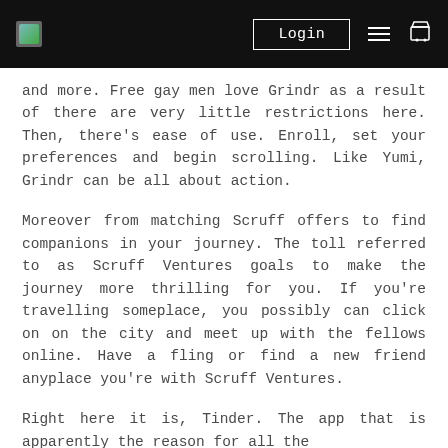Login
and more. Free gay men love Grindr as a result of there are very little restrictions here. Then, there's ease of use. Enroll, set your preferences and begin scrolling. Like Yumi, Grindr can be all about action.
Moreover from matching Scruff offers to find companions in your journey. The toll referred to as Scruff Ventures goals to make the journey more thrilling for you. If you're travelling someplace, you possibly can click on on the city and meet up with the fellows online. Have a fling or find a new friend anyplace you're with Scruff Ventures.
Right here it is, Tinder. The app that is apparently the reason for all the